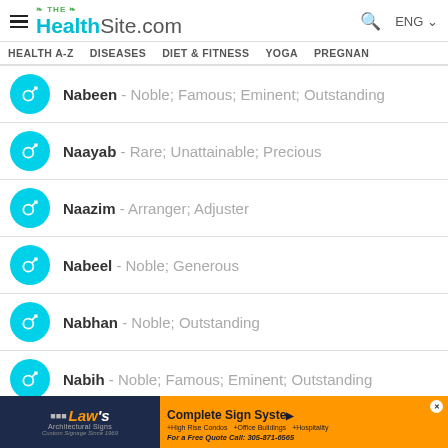TheHealthSite.com — ENG
HEALTH A-Z   DISEASES   DIET & FITNESS   YOGA   PREGNAN…
Nabeen - Noble; Famous; Eminent; Outstanding
Naayab - Rare; Unattainable; Precious
Naazim - Arranger; Adjuster
Nabeel - Noble; Generous
Nabhan - Noble; Outstanding
Nabih - Noble; Famous; Eminent; Outstanding
Nabi Bakhsh - Gift of the prophet
[Figure (other): Law's Architectural Signs advertisement banner - Complete Sign Systems, High Rise Condos, Office Buildings, Hospitality. For a Free Quote Call: 305-871-6565]